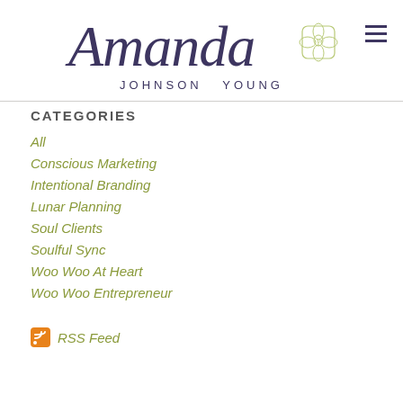[Figure (logo): Amanda Johnson Young logo with cursive 'Amanda' script, floral emblem, and 'JOHNSON YOUNG' text in spaced capitals]
CATEGORIES
All
Conscious Marketing
Intentional Branding
Lunar Planning
Soul Clients
Soulful Sync
Woo Woo At Heart
Woo Woo Entrepreneur
RSS Feed